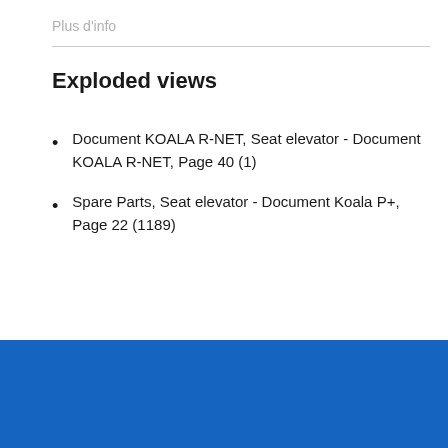Plus d'info
Exploded views
Document KOALA R-NET, Seat elevator - Document KOALA R-NET, Page 40 (1)
Spare Parts, Seat elevator - Document Koala P+, Page 22 (1189)